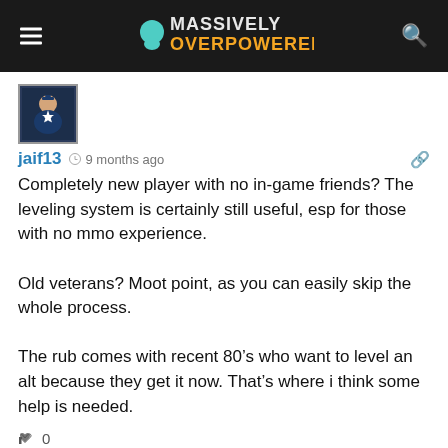Massively Overpowered
[Figure (screenshot): User avatar: Captain America / superhero figure on dark blue background]
jaif13  9 months ago
Completely new player with no in-game friends? The leveling system is certainly still useful, esp for those with no mmo experience.

Old veterans? Moot point, as you can easily skip the whole process.

The rub comes with recent 80’s who want to level an alt because they get it now. That’s where i think some help is needed.
0
[Figure (illustration): Purple square avatar with white letter A]